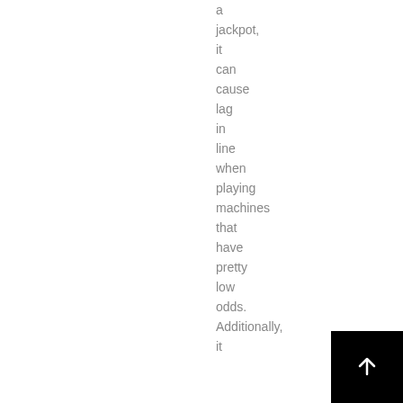a jackpot, it can cause lag in line when playing machines that have pretty low odds. Additionally, it
[Figure (other): Black square button with a white upward arrow icon in the bottom-right corner]